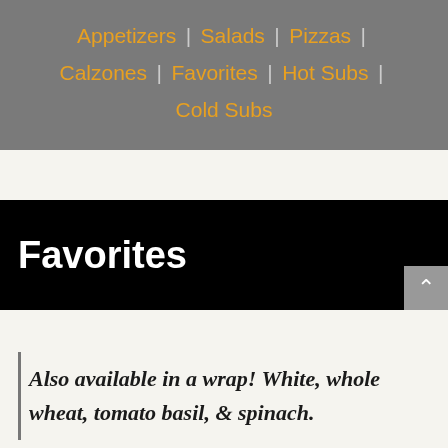Appetizers | Salads | Pizzas | Calzones | Favorites | Hot Subs | Cold Subs
Favorites
Also available in a wrap! White, whole wheat, tomato basil, & spinach.